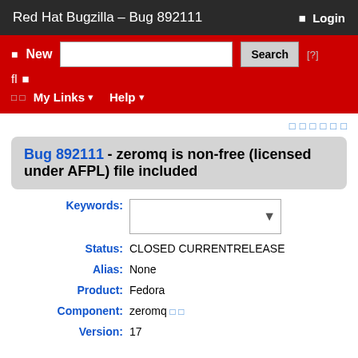Red Hat Bugzilla – Bug 892111   Login
New  Search  [?]
fl  My Links  Help
□□□□□□
Bug 892111 - zeromq is non-free (licensed under AFPL) file included
Keywords:
Status: CLOSED CURRENTRELEASE
Alias: None
Product: Fedora
Component: zeromq
Version: 17